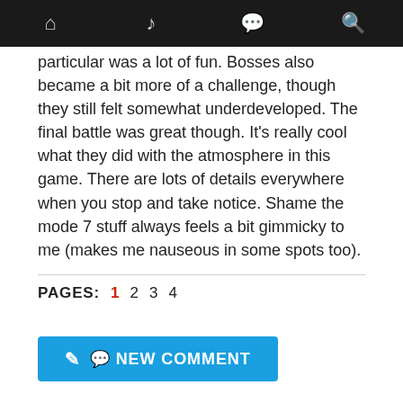Navigation bar with home, music, chat, search icons
particular was a lot of fun. Bosses also became a bit more of a challenge, though they still felt somewhat underdeveloped. The final battle was great though. It's really cool what they did with the atmosphere in this game. There are lots of details everywhere when you stop and take notice. Shame the mode 7 stuff always feels a bit gimmicky to me (makes me nauseous in some spots too).
PAGES: 1 2 3 4
[Figure (other): Blue NEW COMMENT button with speech bubble icon]
LATEST UPDATES
[Figure (other): Three card placeholders in a row at the bottom]